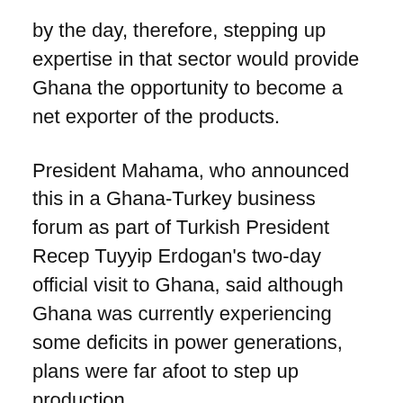by the day, therefore, stepping up expertise in that sector would provide Ghana the opportunity to become a net exporter of the products.
President Mahama, who announced this in a Ghana-Turkey business forum as part of Turkish President Recep Tuyyip Erdogan's two-day official visit to Ghana, said although Ghana was currently experiencing some deficits in power generations, plans were far afoot to step up production.
President Erdogan whose official visits would take him to Nigeria, the Ivory Coast and Guinea-Conakry, had earlier signed Memoranda of Understanding with his Ghanaian counterparts in